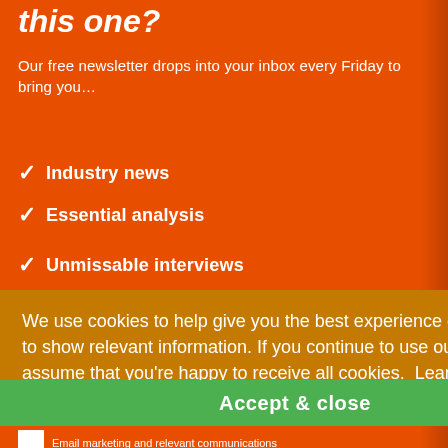this one?
Our free newsletter drops into your inbox every Friday to bring you…
Industry news
Essential analysis
Unmissable interviews
We use cookies to help give you the best experience on our site and to show relevant information. If you continue to use our site, we'll assume that you're happy to receive all cookies. Learn more
Accept & close
Email marketing and relevant communications